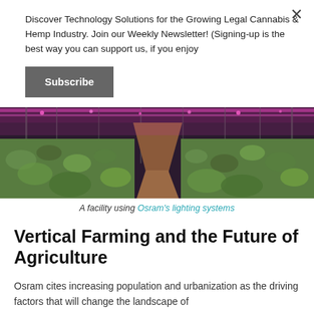Discover Technology Solutions for the Growing Legal Cannabis & Hemp Industry. Join our Weekly Newsletter! (Signing-up is the best way you can support us, if you enjoy
Subscribe
[Figure (photo): Indoor vertical farming facility with rows of green plants under pink/purple LED lighting, viewed from a center aisle perspective.]
A facility using Osram's lighting systems
Vertical Farming and the Future of Agriculture
Osram cites increasing population and urbanization as the driving factors that will change the landscape of